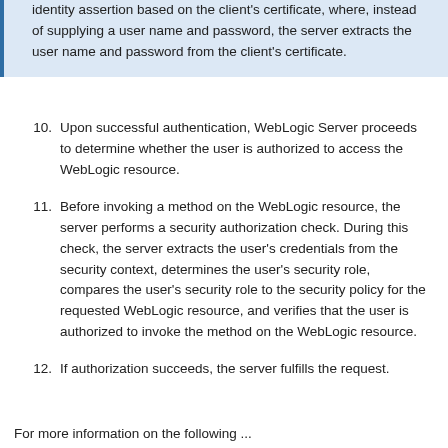identity assertion based on the client's certificate, where, instead of supplying a user name and password, the server extracts the user name and password from the client's certificate.
10. Upon successful authentication, WebLogic Server proceeds to determine whether the user is authorized to access the WebLogic resource.
11. Before invoking a method on the WebLogic resource, the server performs a security authorization check. During this check, the server extracts the user's credentials from the security context, determines the user's security role, compares the user's security role to the security policy for the requested WebLogic resource, and verifies that the user is authorized to invoke the method on the WebLogic resource.
12. If authorization succeeds, the server fulfills the request.
For more information on the following ...